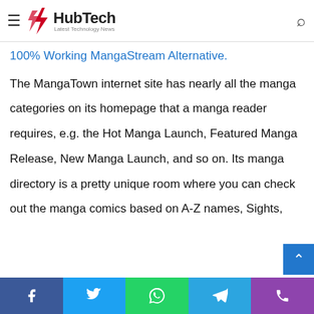HubTech - Latest Technology News
also show which is pretty minimalistic. It will certainly blow your mind with its user experience. Also review
100% Working MangaStream Alternative.
The MangaTown internet site has nearly all the manga categories on its homepage that a manga reader requires, e.g. the Hot Manga Launch, Featured Manga Release, New Manga Launch, and so on. Its manga directory is a pretty unique room where you can check out the manga comics based on A-Z names, Sights,
Share buttons: Facebook, Twitter, WhatsApp, Telegram, Phone